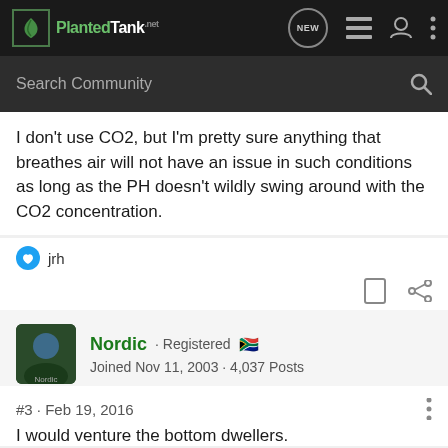PlantedTank · NEW
I don't use CO2, but I'm pretty sure anything that breathes air will not have an issue in such conditions as long as the PH doesn't wildly swing around with the CO2 concentration.
👍 jrh
Nordic · Registered 🇿🇦
Joined Nov 11, 2003 · 4,037 Posts
#3 · Feb 19, 2016
I would venture the bottom dwellers.